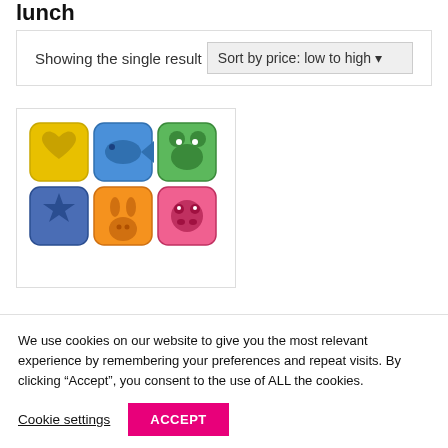lunch
Showing the single result
Sort by price: low to high
[Figure (photo): Six colorful plastic animal-shaped sandwich/egg mold cutters arranged in a 2x3 grid: yellow heart, blue fish, green frog (top row); blue star, orange rabbit, pink pig (bottom row)]
We use cookies on our website to give you the most relevant experience by remembering your preferences and repeat visits. By clicking “Accept”, you consent to the use of ALL the cookies.
Cookie settings
ACCEPT